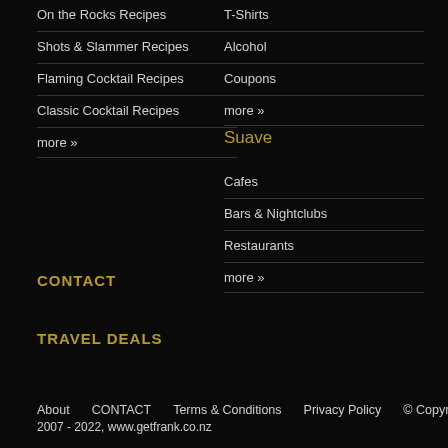On the Rocks Recipes
Shots & Slammer Recipes
Flaming Cocktail Recipes
Classic Cocktail Recipes
more »
T-Shirts
Alcohol
Coupons
more »
Suave
Cafes
Bars & Nightclubs
Restaurants
more »
CONTACT
TRAVEL DEALS
About   CONTACT   Terms & Conditions   Privacy Policy   © Copyright 2007 - 2022, www.getfrank.co.nz